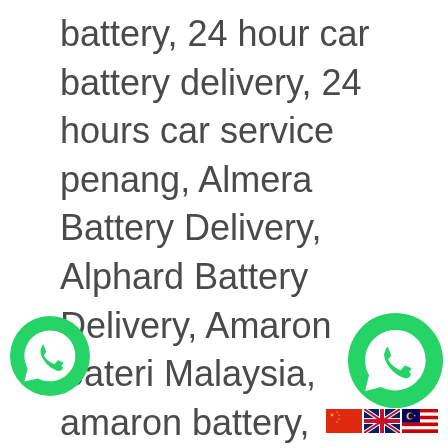battery, 24 hour car battery delivery, 24 hours car service penang, Almera Battery Delivery, Alphard Battery Delivery, Amaron Bateri Malaysia, amaron battery, amaron battery kajang, amaron battery made in, amaron battery malaysia review, amaron battery review, amaron battery specifications, amaron car battery supplier, amaron car battery vs battery, amaron hi life pro price malaysia, amaron malaysia, amaron ns 70, Audi A6 Hybrid Battery Delivery, Audi Car Battery, bateri amaron, bateri com, Bateri Kereta Almera, Bateri Kereta Bmw, bateri kereta delivery, Bateri Kereta Exora, Bateri Kereta Kong, Bateri